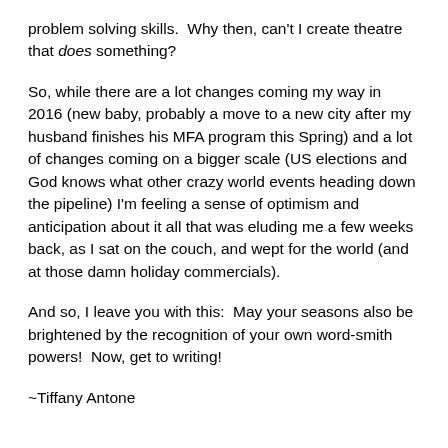problem solving skills.  Why then, can't I create theatre that does something?
So, while there are a lot changes coming my way in 2016 (new baby, probably a move to a new city after my husband finishes his MFA program this Spring) and a lot of changes coming on a bigger scale (US elections and God knows what other crazy world events heading down the pipeline) I'm feeling a sense of optimism and anticipation about it all that was eluding me a few weeks back, as I sat on the couch, and wept for the world (and at those damn holiday commercials).
And so, I leave you with this:  May your seasons also be brightened by the recognition of your own word-smith powers!  Now, get to writing!
~Tiffany Antone